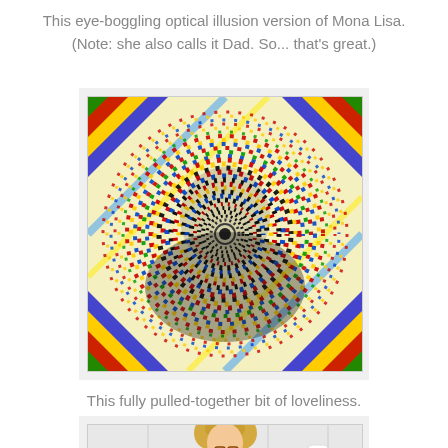This eye-boggling optical illusion version of Mona Lisa. (Note: she also calls it Dad. So... that's great.)
[Figure (illustration): Colorful optical illusion artwork resembling Mona Lisa made of concentric circular patterns of multicolored small strokes on a striped geometric background]
This fully pulled-together bit of loveliness.
[Figure (photo): Photo of a blonde woman with curly hair in what appears to be a bathroom setting]